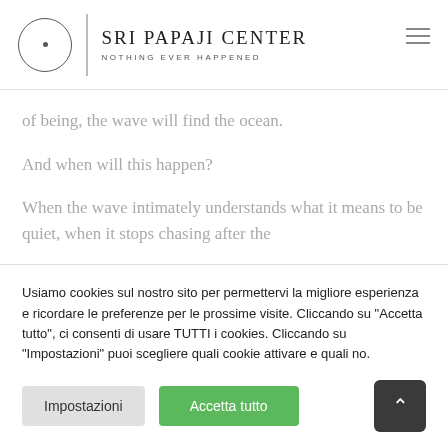[Figure (logo): Sri Papaji Center logo with circle, vertical divider, brand name and tagline 'NOTHING EVER HAPPENED']
of being, the wave will find the ocean.
And when will this happen?
When the wave intimately understands what it means to be quiet, when it stops chasing after the
Usiamo cookies sul nostro sito per permettervi la migliore esperienza e ricordare le preferenze per le prossime visite. Cliccando su "Accetta tutto", ci consenti di usare TUTTI i cookies. Cliccando su "Impostazioni" puoi scegliere quali cookie attivare e quali no.